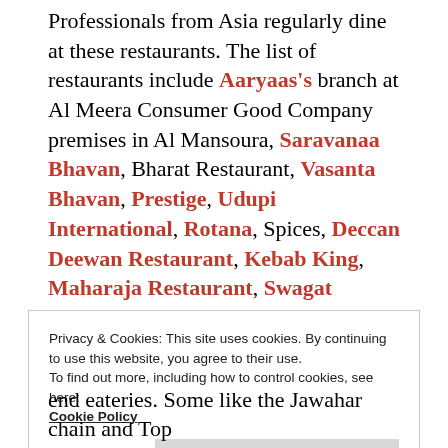Professionals from Asia regularly dine at these restaurants. The list of restaurants include Aaryaas's branch at Al Meera Consumer Good Company premises in Al Mansoura, Saravanaa Bhavan, Bharat Restaurant, Vasanta Bhavan, Prestige, Udupi International, Rotana, Spices, Deccan Deewan Restaurant, Kebab King, Maharaja Restaurant, Swagat Restaurant, Bombay Chowpatty, Bombay Sweets & Restaurant and Maharashtra's Pride which was till 2012 known as Mirch Masala under a different management.
Privacy & Cookies: This site uses cookies. By continuing to use this website, you agree to their use. To find out more, including how to control cookies, see here: Cookie Policy
end eateries. Some like the Jawahar chain and Top